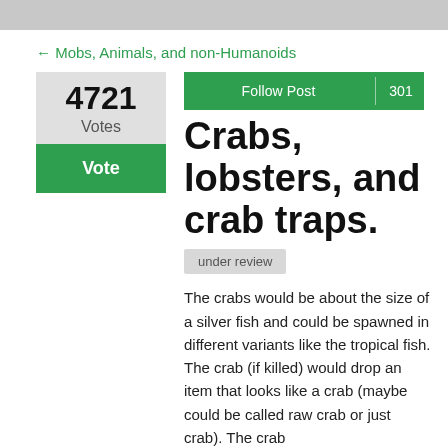← Mobs, Animals, and non-Humanoids
4721
Votes
Vote
Follow Post  301
Crabs, lobsters, and crab traps.
under review
The crabs would be about the size of a silver fish and could be spawned in different variants like the tropical fish. The crab (if killed) would drop an item that looks like a crab (maybe could be called raw crab or just crab). The crab